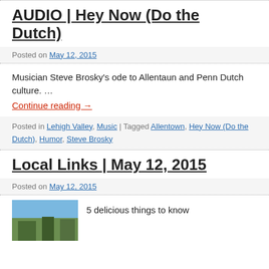AUDIO | Hey Now (Do the Dutch)
Posted on May 12, 2015
Musician Steve Brosky's ode to Allentaun and Penn Dutch culture. …
Continue reading →
Posted in Lehigh Valley, Music | Tagged Allentown, Hey Now (Do the Dutch), Humor, Steve Brosky
Local Links | May 12, 2015
Posted on May 12, 2015
5 delicious things to know